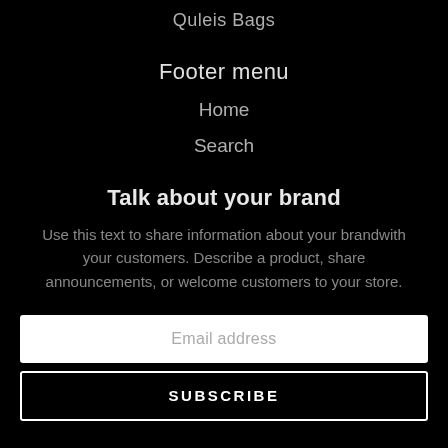Quleis Bags
Footer menu
Home
Search
Talk about your brand
Use this text to share information about your brandwith your customers. Describe a product, share announcements, or welcome customers to your store.
Email address
SUBSCRIBE